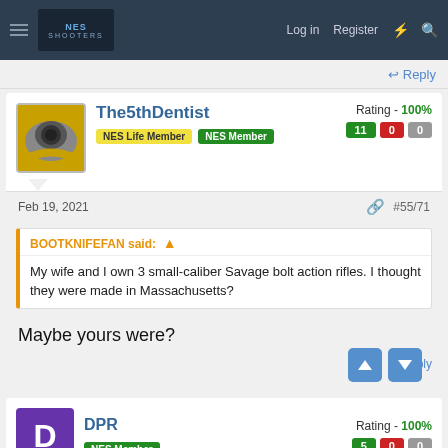NES Shooters — Log in   Register
Reply
The5thDentist — NES Life Member   NES Member — Rating - 100%  11  0  0
Feb 19, 2021   #55/71
BOOTKNIFEFAN said: ↑
My wife and I own 3 small-caliber Savage bolt action rifles. I thought they were made in Massachusetts?
Maybe yours were?
Reply
DPR — NES Member — Rating - 100%  5  0  0